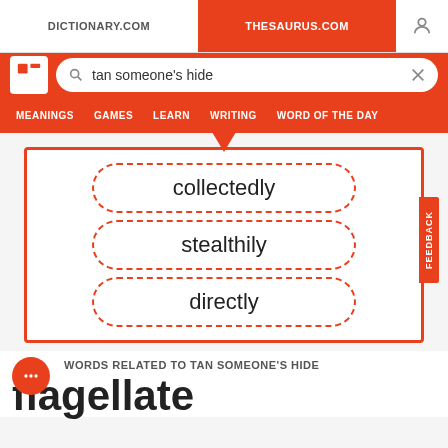DICTIONARY.COM | THESAURUS.COM
tan someone's hide
MEANINGS GAMES LEARN WRITING WORD OF THE DAY
[Figure (infographic): Three dashed-border pill-shaped boxes containing the words: collectedly, stealthily, directly. A red downward arrow points to the first pill from above. The whole group is inside a red-bordered rectangle.]
WORDS RELATED TO TAN SOMEONE'S HIDE
flagellate